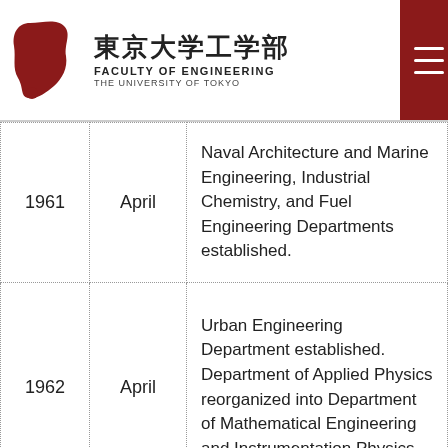東京大学工学部 FACULTY OF ENGINEERING THE UNIVERSITY OF TOKYO
| Year | Month | Event |
| --- | --- | --- |
| 1961 | April | Naval Architecture and Marine Engineering, Industrial Chemistry, and Fuel Engineering Departments established. |
| 1962 | April | Urban Engineering Department established. Department of Applied Physics reorganized into Department of Mathematical Engineering and Instrumentation Physics. |
| 1963 | April | Precision Engineering Department renamed Precision Mechanical Engineering Department. Applied Physics Department reorganized into |